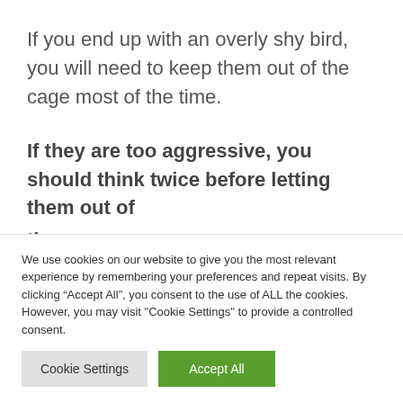If you end up with an overly shy bird, you will need to keep them out of the cage most of the time.
If they are too aggressive, you should think twice before letting them out of the cage
We use cookies on our website to give you the most relevant experience by remembering your preferences and repeat visits. By clicking “Accept All”, you consent to the use of ALL the cookies. However, you may visit "Cookie Settings" to provide a controlled consent.